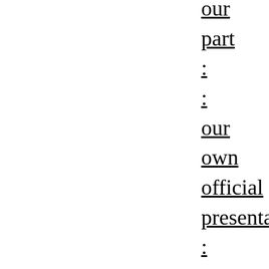our part : : our own official presentation : : would produce grave changes and incalculable social disturbances, and in this way